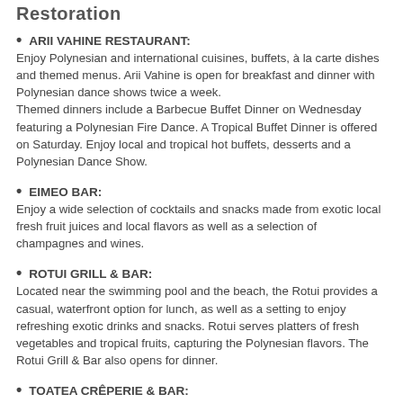Restoration
ARII VAHINE RESTAURANT:
Enjoy Polynesian and international cuisines, buffets, à la carte dishes and themed menus. Arii Vahine is open for breakfast and dinner with Polynesian dance shows twice a week.
Themed dinners include a Barbecue Buffet Dinner on Wednesday featuring a Polynesian Fire Dance. A Tropical Buffet Dinner is offered on Saturday. Enjoy local and tropical hot buffets, desserts and a Polynesian Dance Show.
EIMEO BAR:
Enjoy a wide selection of cocktails and snacks made from exotic local fresh fruit juices and local flavors as well as a selection of champagnes and wines.
ROTUI GRILL & BAR:
Located near the swimming pool and the beach, the Rotui provides a casual, waterfront option for lunch, as well as a setting to enjoy refreshing exotic drinks and snacks. Rotui serves platters of fresh vegetables and tropical fruits, capturing the Polynesian flavors. The Rotui Grill & Bar also opens for dinner.
TOATEA CRÊPERIE & BAR:
Built over a natural aquarium, the Toatea Bar appears to float on water and offers sweeping views over the lagoon and Moorea's majestic peaks..